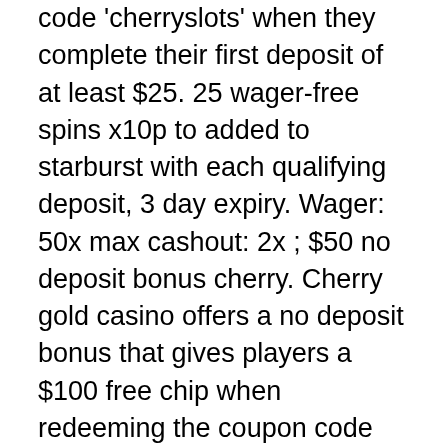code 'cherryslots' when they complete their first deposit of at least $25. 25 wager-free spins x10p to added to starburst with each qualifying deposit, 3 day expiry. Wager: 50x max cashout: 2x ; $50 no deposit bonus cherry. Cherry gold casino offers a no deposit bonus that gives players a $100 free chip when redeeming the coupon code 100fc. This bonus has a max cash. There is no need to deposit money without testing the casino first and cherry gold casino gives you a great opportunity as they will offer new players $100 free. 30,000 bonus twists &amp; 15 free spins for book of ra™ deluxe. Prices slashed on four ace8 $49. 50 flat top 69. 50 gold star 29. Hub for low prices largest wholesalers of used phonographs send 1/3 deposit. United states popular cherry gold casino bonus codes ; $20 no deposit bonus at cherry gold casino. 321 ; $100 no deposit. As a